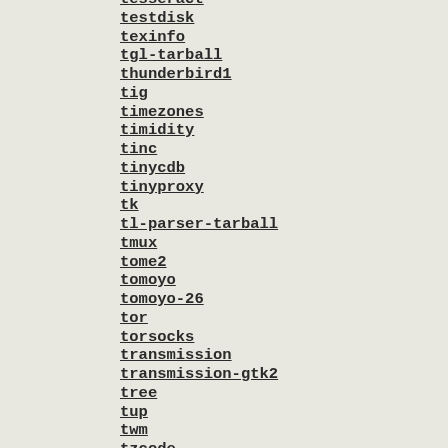tesseract
testdisk
texinfo
tgl-tarball
thunderbird1
tig
timezones
timidity
tinc
tinycdb
tinyproxy
tk
tl-parser-tarball
tmux
tome2
tomoyo
tomoyo-26
tor
torsocks
transmission
transmission-gtk2
tree
tup
twm
tzcode
tzdata
ubase-passwd
ubase-tarball
uboot
ucl